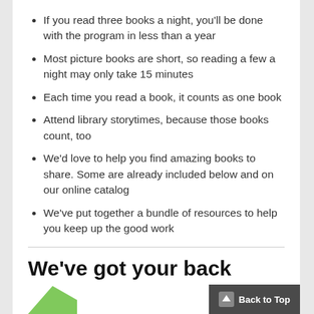If you read three books a night, you'll be done with the program in less than a year
Most picture books are short, so reading a few a night may only take 15 minutes
Each time you read a book, it counts as one book
Attend library storytimes, because those books count, too
We'd love to help you find amazing books to share. Some are already included below and on our online catalog
We've put together a bundle of resources to help you keep up the good work
We've got your back